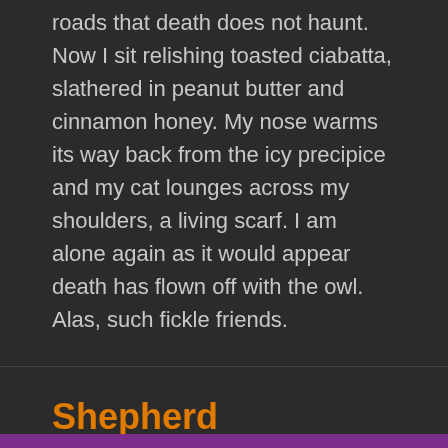roads that death does not haunt. Now I sit relishing toasted ciabatta, slathered in peanut butter and cinnamon honey. My nose warms its way back from the icy precipice and my cat lounges across my shoulders, a living scarf. I am alone again as it would appear death has flown off with the owl. Alas, such fickle friends.
Shepherd
Posted on  January 12, 2015   Standard   2
This image was so rich and profound for me I had to share. It is a National Geographic "Photo of the Day". Please click on the link to read more. He is a shepherd from Iran. His face, his effort, his beauty – completely affected me.